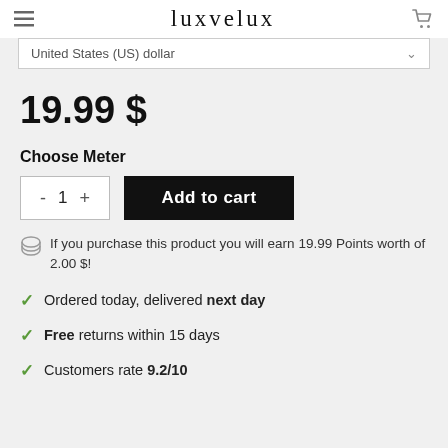luxvelux
United States (US) dollar
19.99 $
Choose Meter
- 1 + Add to cart
If you purchase this product you will earn 19.99 Points worth of 2.00 $!
Ordered today, delivered next day
Free returns within 15 days
Customers rate 9.2/10